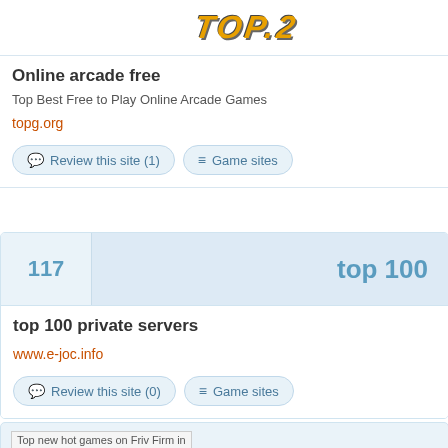[Figure (logo): TOP.2 game site logo, stylized gold/yellow metallic text on dark background]
Online arcade free
Top Best Free to Play Online Arcade Games
topg.org
Review this site (1)
Game sites
117
top 100
top 100 private servers
www.e-joc.info
Review this site (0)
Game sites
[Figure (screenshot): Broken image placeholder for Top new hot games on Friv Firm]
118